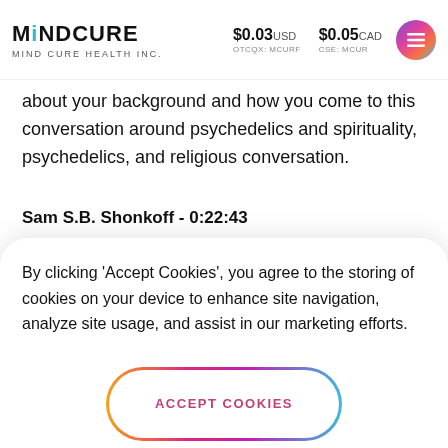MINDCURE | MIND CURE HEALTH INC. | $0.03 USD | OTCQX: MCURF | $0.05 CAD | CSE: MCUR
about your background and how you come to this conversation around psychedelics and spirituality, psychedelics, and religious conversation.
Sam S.B. Shonkoff - 0:22:43
By clicking 'Accept Cookies', you agree to the storing of cookies on your device to enhance site navigation, analyze site usage, and assist in our marketing efforts.
ACCEPT COOKIES